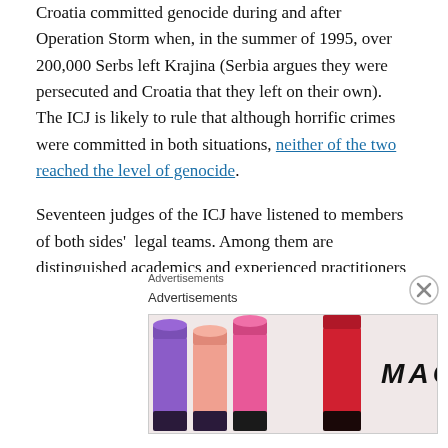Croatia committed genocide during and after Operation Storm when, in the summer of 1995, over 200,000 Serbs left Krajina (Serbia argues they were persecuted and Croatia that they left on their own). The ICJ is likely to rule that although horrific crimes were committed in both situations, neither of the two reached the level of genocide.
Seventeen judges of the ICJ have listened to members of both sides'  legal teams. Among them are distinguished academics and experienced practitioners such as William Schabas, Wayne Jordash, Andreas Zimmermann, Philippe Sands and Keir Starmer.
[Figure (other): Advertisement banner for MAC cosmetics showing lipsticks and a SHOP NOW button]